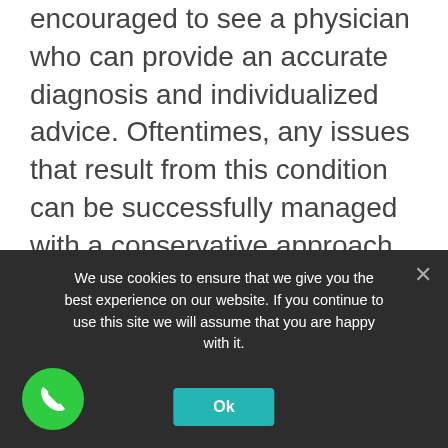encouraged to see a physician who can provide an accurate diagnosis and individualized advice. Oftentimes, any issues that result from this condition can be successfully managed with a conservative approach, such as exercise, hot/cold therapy and medications.
With that said, if your discomfort is severe and nonsurgical treatments do not provide the relief you need, you may want to talk with the experts at USA Spine Care. Our minimally invasive spine procedures are often the clinically appropriate first choice for treating degenerative disc disease when compared
We use cookies to ensure that we give you the best experience on our website. If you continue to use this site we will assume that you are happy with it.